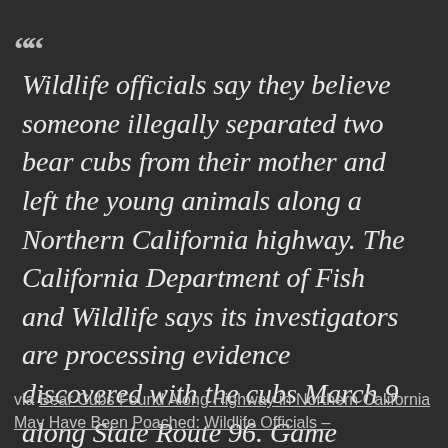““ Wildlife officials say they believe someone illegally separated two bear cubs from their mother and left the young animals along a Northern California highway. The California Department of Fish and Wildlife says its investigators are processing evidence discovered with the cubs March 9 along State Route 96. Game wardens say they couldn’t find the mother,...
via Bear Cubs Found Along Highway in Northern California May Have Been Poached: Wildlife Officials –